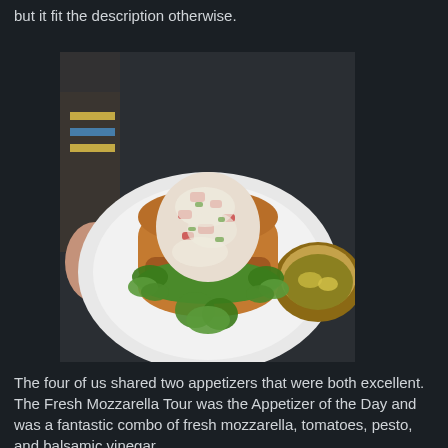but it fit the description otherwise.
[Figure (photo): A photo of a lobster roll or large sandwich on a hoagie bun, topped with a creamy seafood salad and lettuce, served on a white plate, with a bowl of salad visible on the right side. A person's arm is visible in the background.]
The four of us shared two appetizers that were both excellent. The Fresh Mozzarella Tour was the Appetizer of the Day and was a fantastic combo of fresh mozzarella, tomatoes, pesto, and balsamic vinegar.